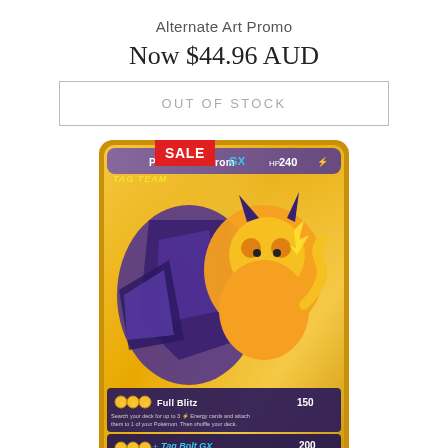Alternate Art Promo
Now $44.96 AUD
OUT OF STOCK
[Figure (photo): Pikachu & Zekrom GX TAG TEAM Pokemon card with gold and purple alternate art design. Card shows Full Blitz attack (150 damage) and Tag Bolt GX attack (200 damage). HP 240. A red SALE badge appears in the top-left corner of the card image area.]
Pikachu & Zekrom GX SM049